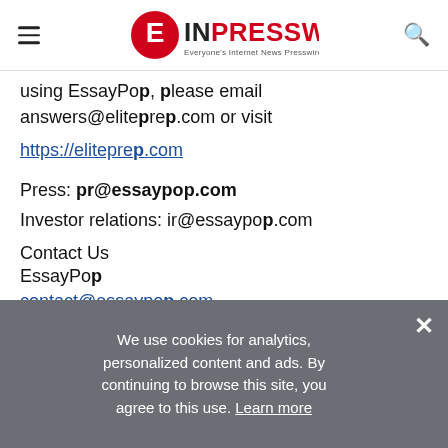EINPresswire — Everyone's Internet News Presswire
using EssayPop, please email answers@eliteprep.com or visit https://eliteprep.com
Press: pr@essaypop.com
Investor relations: ir@essaypop.com
Contact Us
EssayPop
contact@essaypop.com
+1 818-439-4510
We use cookies for analytics, personalized content and ads. By continuing to browse this site, you agree to this use. Learn more